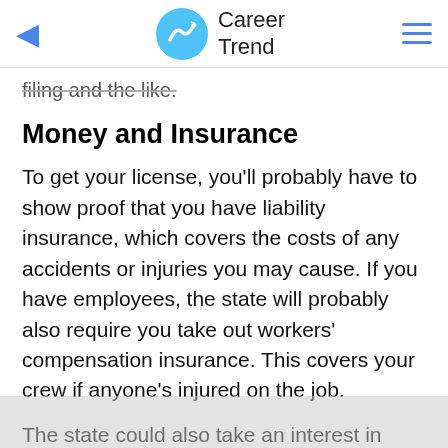Career Trend
filing and the like.
Money and Insurance
To get your license, you'll probably have to show proof that you have liability insurance, which covers the costs of any accidents or injuries you may cause. If you have employees, the state will probably also require you take out workers' compensation insurance. This covers your crew if anyone's injured on the job.
The state could also take an interest in your financial condition. You may have to submit to a financial audit, credit report, or statements showing your